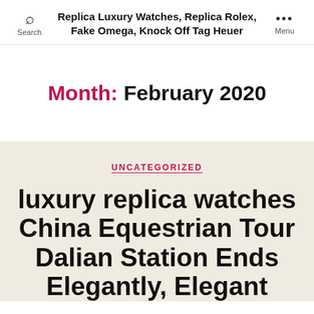Replica Luxury Watches, Replica Rolex, Fake Omega, Knock Off Tag Heuer
Month: February 2020
UNCATEGORIZED
luxury replica watches China Equestrian Tour Dalian Station Ends Elegantly, Elegant